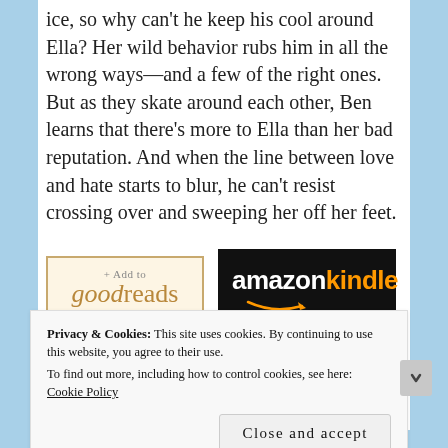ice, so why can't he keep his cool around Ella? Her wild behavior rubs him in all the wrong ways—and a few of the right ones. But as they skate around each other, Ben learns that there's more to Ella than her bad reputation. And when the line between love and hate starts to blur, he can't resist crossing over and sweeping her off her feet.
[Figure (logo): + Add to goodreads button (tan border, beige background)]
[Figure (logo): Amazon Kindle button (black background, white 'amazon', orange 'kindle', smile arrow)]
My Review:
3.75 stars — I received a free copy through NetGalley in
Privacy & Cookies: This site uses cookies. By continuing to use this website, you agree to their use.
To find out more, including how to control cookies, see here: Cookie Policy
Close and accept